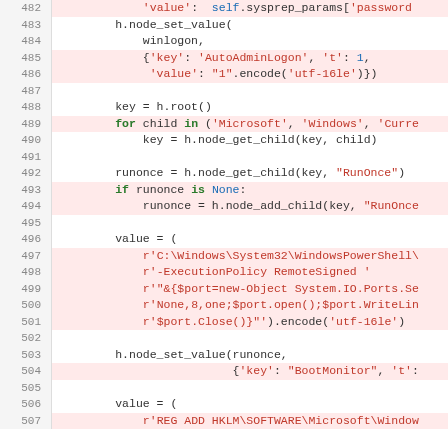[Figure (screenshot): Python source code snippet showing registry manipulation and sysprep configuration, lines 482-507]